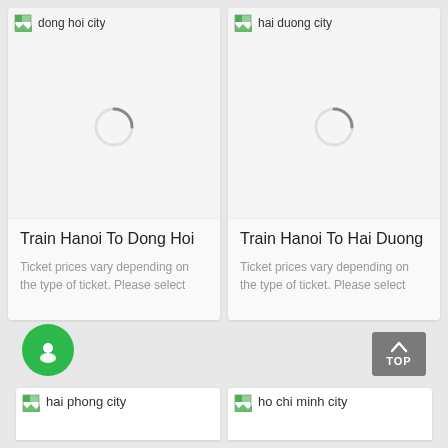[Figure (screenshot): City card showing dong hoi city image loading with spinner, card for Train Hanoi To Dong Hoi]
Train Hanoi To Dong Hoi
Ticket prices vary depending on the type of ticket. Please select
[Figure (screenshot): City card showing hai duong city image loading with spinner, card for Train Hanoi To Hai Duong]
Train Hanoi To Hai Duong
Ticket prices vary depending on the type of ticket. Please select
[Figure (illustration): Green circular chat button with white person icon]
[Figure (illustration): Grey TOP button with arrow pointing up]
hai phong city
ho chi minh city